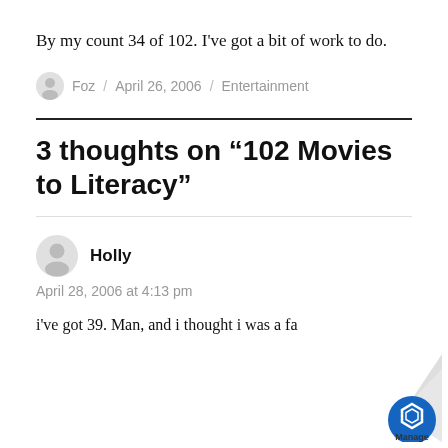By my count 34 of 102. I've got a bit of work to do.
Foz / April 26, 2006 / Entertainment
3 thoughts on “102 Movies to Literacy”
Holly
April 28, 2006 at 4:13 pm
i've got 39. Man, and i thought i was a fa